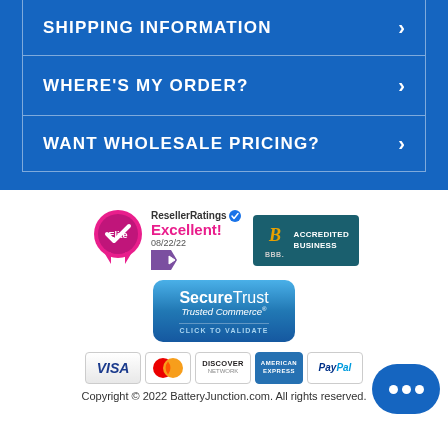SHIPPING INFORMATION ›
WHERE'S MY ORDER? ›
WANT WHOLESALE PRICING? ›
[Figure (logo): ResellerRatings Elite badge with Excellent! rating dated 08/22/22]
[Figure (logo): BBB Accredited Business badge]
[Figure (logo): SecureTrust Trusted Commerce - Click to Validate badge]
[Figure (logo): Payment method logos: Visa, MasterCard, Discover, American Express, PayPal]
Copyright © 2022 BatteryJunction.com. All rights reserved.